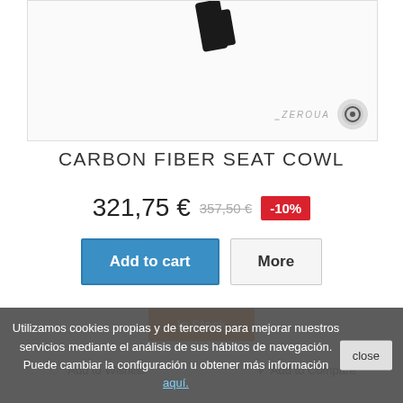[Figure (photo): Product image of a carbon fiber seat cowl, partial view showing a black strap/component. Bottom right corner has a brand logo and circular logo icon.]
CARBON FIBER SEAT COWL
321,75 € 357,50 € -10%
Add to cart | More
In Stock
♡ Add to Wishlist  + Add to Compare
Utilizamos cookies propias y de terceros para mejorar nuestros servicios mediante el análisis de sus hábitos de navegación. Puede cambiar la configuración u obtener más información aquí.